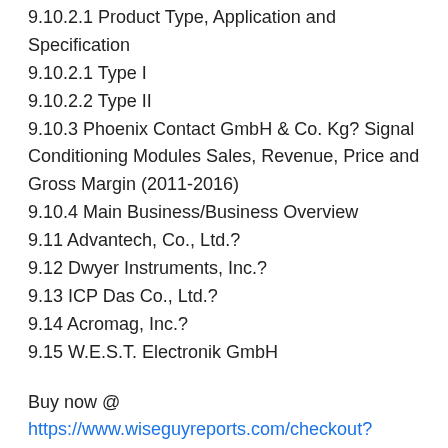9.10.2.1 Product Type, Application and Specification
9.10.2.1 Type I
9.10.2.2 Type II
9.10.3 Phoenix Contact GmbH & Co. Kg? Signal Conditioning Modules Sales, Revenue, Price and Gross Margin (2011-2016)
9.10.4 Main Business/Business Overview
9.11 Advantech, Co., Ltd.?
9.12 Dwyer Instruments, Inc.?
9.13 ICP Das Co., Ltd.?
9.14 Acromag, Inc.?
9.15 W.E.S.T. Electronik GmbH
Buy now @ https://www.wiseguyreports.com/checkout?currency=one_user-USD&report_id=730005